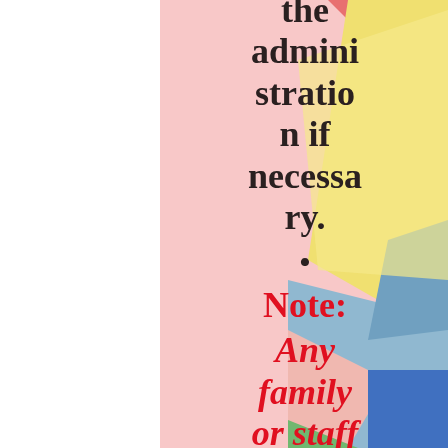the administration if necessary.
•
Note: Any family or staff member who knowingly has